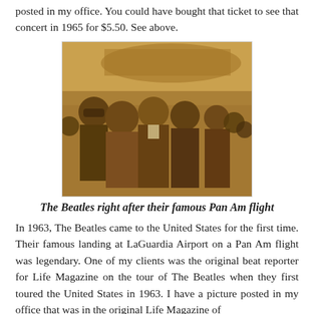posted in my office. You could have bought that ticket to see that concert in 1965 for $5.50. See above.
[Figure (photo): Sepia-toned photograph of The Beatles arriving after their Pan Am flight, surrounded by a crowd, with an airplane visible in the background.]
The Beatles right after their famous Pan Am flight
In 1963, The Beatles came to the United States for the first time. Their famous landing at LaGuardia Airport on a Pan Am flight was legendary. One of my clients was the original beat reporter for Life Magazine on the tour of The Beatles when they first toured the United States in 1963. I have a picture posted in my office that was in the original Life Magazine of